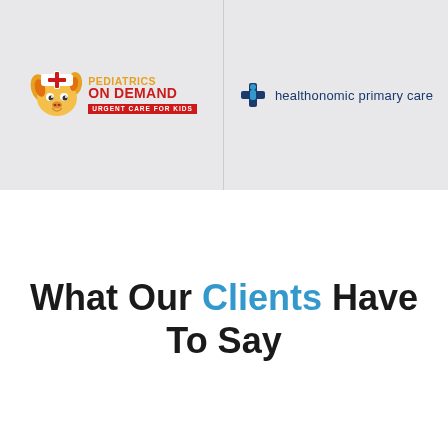[Figure (logo): Pediatrics On Demand - Urgent Care For Kids logo with cartoon dog mascot wearing nurse hat, orange and red text]
[Figure (logo): Healthonomic Primary Care logo with blue cross/figure icon and navy text reading 'healthonomic primary care']
What Our Clients Have To Say